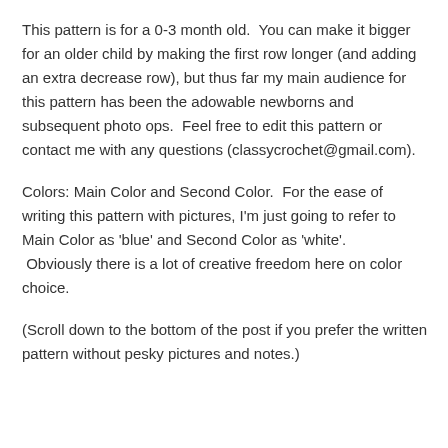This pattern is for a 0-3 month old.  You can make it bigger for an older child by making the first row longer (and adding an extra decrease row), but thus far my main audience for this pattern has been the adowable newborns and subsequent photo ops.  Feel free to edit this pattern or contact me with any questions (classycrochet@gmail.com).
Colors: Main Color and Second Color.  For the ease of writing this pattern with pictures, I'm just going to refer to Main Color as 'blue' and Second Color as 'white'.  Obviously there is a lot of creative freedom here on color choice.
(Scroll down to the bottom of the post if you prefer the written pattern without pesky pictures and notes.)